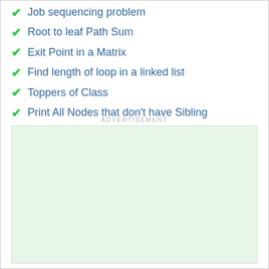Job sequencing problem
Root to leaf Path Sum
Exit Point in a Matrix
Find length of loop in a linked list
Toppers of Class
Print All Nodes that don't have Sibling
Transform to Sum Tree
Shortest Source to Destination Path
ADVERTISEMENT
[Figure (other): Light green advertisement placeholder box]